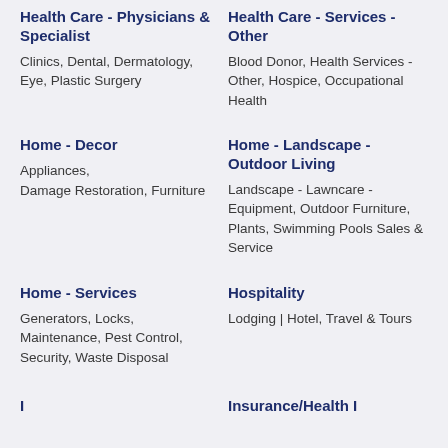Health Care - Physicians & Specialist
Clinics,  Dental,  Dermatology,  Eye,  Plastic Surgery
Health Care - Services - Other
Blood Donor,  Health Services - Other,  Hospice,  Occupational Health
Home - Decor
Appliances,  Damage Restoration,  Furniture
Home - Landscape - Outdoor Living
Landscape - Lawncare - Equipment,  Outdoor Furniture,  Plants,  Swimming Pools Sales & Service
Home - Services
Generators,  Locks,  Maintenance,  Pest Control,  Security,  Waste Disposal
Hospitality
Lodging | Hotel,  Travel & Tours